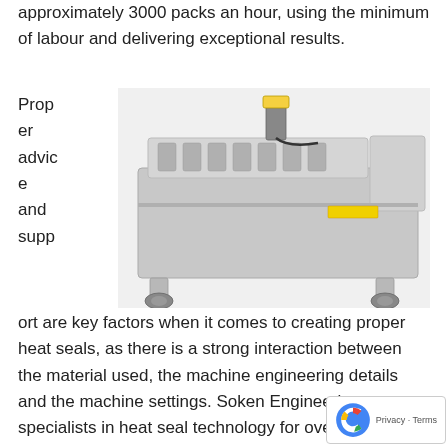approximately 3000 packs an hour, using the minimum of labour and delivering exceptional results.
[Figure (photo): Industrial heat sealing machine — a large stainless steel tray sealer on wheels with multiple sealing stations and a control panel on top.]
Proper advice and support are key factors when it comes to creating proper heat seals, as there is a strong interaction between the material used, the machine engineering details and the machine settings. Soken Engineering, specialists in heat seal technology for over 40 years, have responded to the ever-